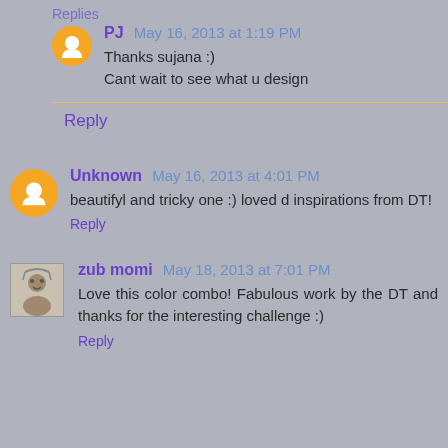Replies
PJ  May 16, 2013 at 1:19 PM
Thanks sujana :)
Cant wait to see what u design
Reply
Unknown  May 16, 2013 at 4:01 PM
beautifyl and tricky one :) loved d inspirations from DT!
Reply
zub momi  May 18, 2013 at 7:01 PM
Love this color combo! Fabulous work by the DT and thanks for the interesting challenge :)
Reply